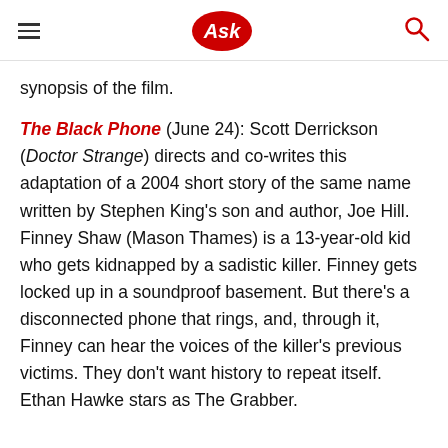Ask
synopsis of the film.
The Black Phone (June 24): Scott Derrickson (Doctor Strange) directs and co-writes this adaptation of a 2004 short story of the same name written by Stephen King's son and author, Joe Hill. Finney Shaw (Mason Thames) is a 13-year-old kid who gets kidnapped by a sadistic killer. Finney gets locked up in a soundproof basement. But there’s a disconnected phone that rings, and, through it, Finney can hear the voices of the killer’s previous victims. They don’t want history to repeat itself. Ethan Hawke stars as The Grabber.